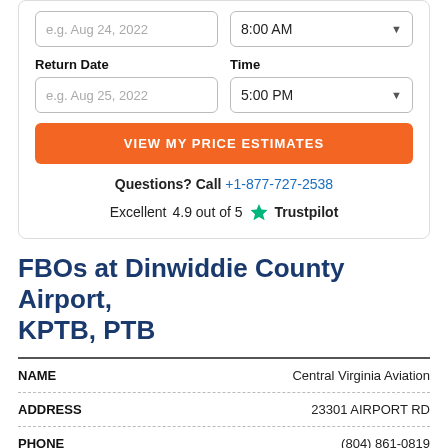e.g. Aug 24, 2022 | 8:00 AM
Return Date | Time
e.g. Aug 25, 2022 | 5:00 PM
VIEW MY PRICE ESTIMATES
Questions? Call +1-877-727-2538
Excellent  4.9 out of 5  ★ Trustpilot
FBOs at Dinwiddie County Airport, KPTB, PTB
| NAME |  |
| --- | --- |
| Central Virginia Aviation |  |
| 23301 AIRPORT RD |  |
| (804) 861-0819 |  |
ADDRESS | 23301 AIRPORT RD
PHONE | (804) 861-0819